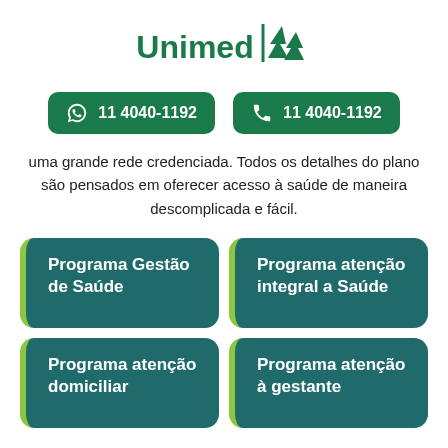[Figure (logo): Unimed logo with green text and pine tree icon]
11 4040-1192
11 4040-1192
uma grande rede credenciada. Todos os detalhes do plano são pensados em oferecer acesso à saúde de maneira descomplicada e fácil.
Programa Gestão de Saúde
Programa atenção integral a Saúde
Programa atenção domiciliar
Programa atenção à gestante